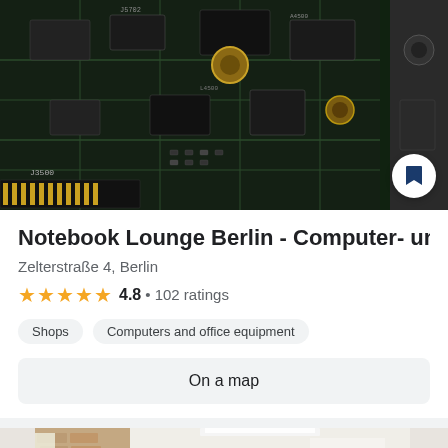[Figure (photo): Close-up photo of a dark circuit board with electronic components, chips, capacitors, and labeled connectors. Labels visible include J3500, J5702, and various component markings.]
Notebook Lounge Berlin - Computer- und Mac
Zelterstraße 4, Berlin
★★★★★ 4.8 • 102 ratings
Shops   Computers and office equipment
On a map
[Figure (photo): Interior photo of the Notebook Lounge Berlin shop showing a bright white room with an arched doorway, brick wall on the left, and computer equipment visible in the background.]